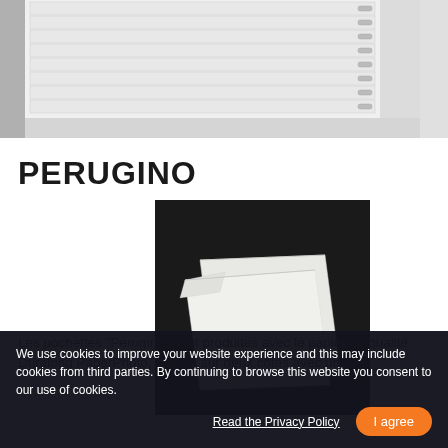[Figure (photo): White flat-plan filing cabinet/drawers with multiple horizontal drawers and small handles, on a light grey background]
PERUGINO
[Figure (photo): White translucent paper sleeves/pockets (Perugino product) shown on a dark background]
Les pochettes "Perugino" sont produites avec le papier de qualité Duralong PaperPhoto, collées sur deux côtés avec un
We use cookies to improve your website experience and this may include cookies from third parties. By continuing to browse this website you consent to our use of cookies.
Read the Privacy Policy
I agree